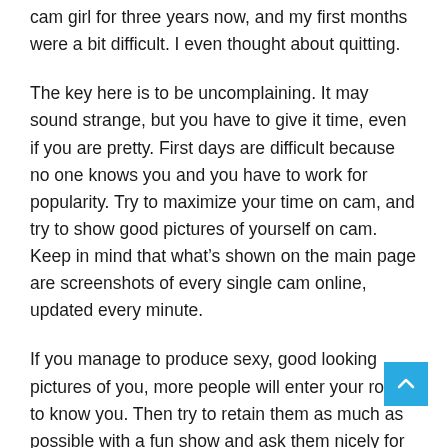cam girl for three years now, and my first months were a bit difficult. I even thought about quitting.
The key here is to be uncomplaining. It may sound strange, but you have to give it time, even if you are pretty. First days are difficult because no one knows you and you have to work for popularity. Try to maximize your time on cam, and try to show good pictures of yourself on cam. Keep in mind that what's shown on the main page are screenshots of every single cam online, updated every minute.
If you manage to produce sexy, good looking pictures of you, more people will enter your room to know you. Then try to retain them as much as possible with a fun show and ask them nicely for tips.
If they think you're pretty and doing a good job, you'll get